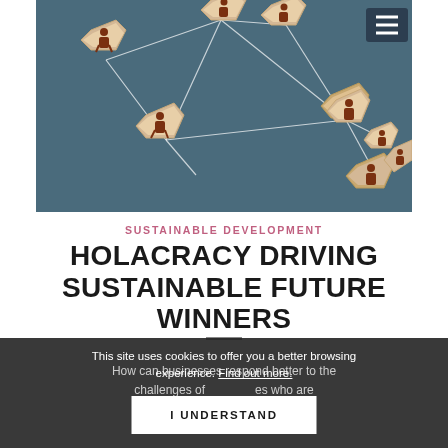[Figure (photo): Wooden hexagonal tiles with human figure icons connected by white lines on a dark teal background, representing networked organizational structure]
SUSTAINABLE DEVELOPMENT
HOLACRACY DRIVING SUSTAINABLE FUTURE WINNERS
This site uses cookies to offer you a better browsing experience. Find out more.
How can businesses respond better to the challenges of … who are successful will … productive for the …
I UNDERSTAND